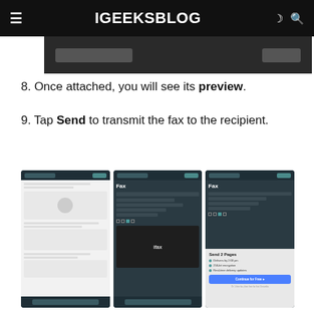iGEEKSBLOG
[Figure (screenshot): Partial screenshot of a dark interface showing two buttons]
8. Once attached, you will see its preview.
9. Tap Send to transmit the fax to the recipient.
[Figure (screenshot): Three mobile app screenshots showing the ifax fax sending interface: first shows document preview, second shows Fax compose screen with fields, third shows Send 2 Pages confirmation with Continue for Free button]